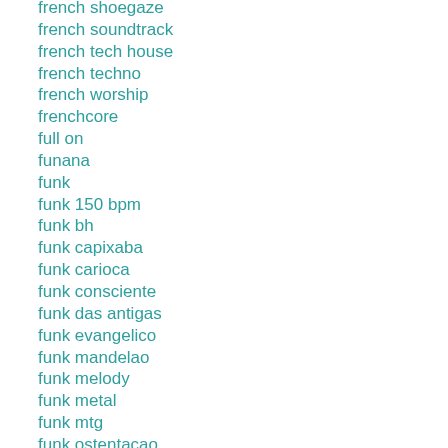french shoegaze
french soundtrack
french tech house
french techno
french worship
frenchcore
full on
funana
funk
funk 150 bpm
funk bh
funk capixaba
funk carioca
funk consciente
funk das antigas
funk evangelico
funk mandelao
funk melody
funk metal
funk mtg
funk ostentacao
funk paulista
funk pop
funk rock
funk viral
funky house